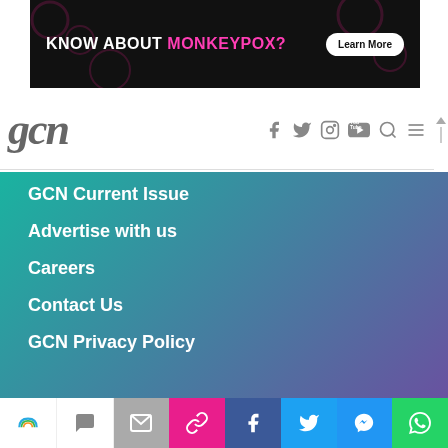[Figure (screenshot): Ad banner with black background showing text KNOW ABOUT MONKEYPOX? with a Learn More button]
[Figure (logo): GCN website logo with social media icons (Facebook, Twitter, Instagram, YouTube), search and menu icons]
GCN Current Issue
Advertise with us
Careers
Contact Us
GCN Privacy Policy
[Figure (logo): Spiders 22 and IMA award logos]
Winner of Spider Awards 2022
Emerging Stronger – Digital for Good Award / Not for Profit
[Figure (screenshot): Bottom share bar with rainbow/comment/email/link/facebook/twitter/messenger/whatsapp buttons]